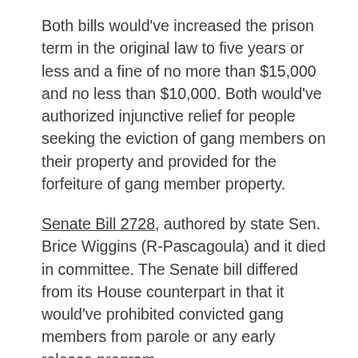Both bills would've increased the prison term in the original law to five years or less and a fine of no more than $15,000 and no less than $10,000. Both would've authorized injunctive relief for people seeking the eviction of gang members on their property and provided for the forfeiture of gang member property.
Senate Bill 2728, authored by state Sen. Brice Wiggins (R-Pascagoula) and it died in committee. The Senate bill differed from its House counterpart in that it would've prohibited convicted gang members from parole or any early release program.
State Rep. Fred Shanks (R-Brandon) authored